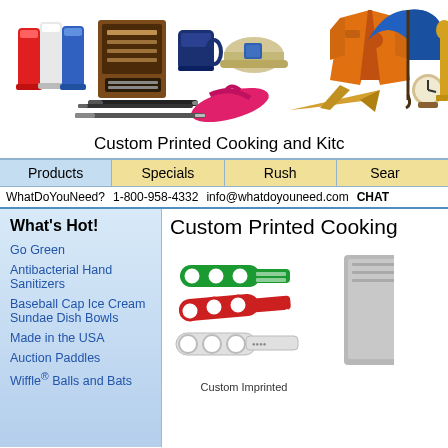[Figure (illustration): Header banner with various promotional/branded products: tumblers, award plaque, mugs, baseball caps, pens, flip flops, toy airplane, jacket, umbrella, clock, trophy statue]
Custom Printed Cooking and Kitc...
| Products | Specials | Rush | Sear... |
| --- | --- | --- | --- |
WhatDoYouNeed?   1-800-958-4332   info@whatdoyouneed.com   CHAT
What's Hot!
Custom Printed Cooking...
Go Green
Antibacterial Hand Sanitizers
Baseball Cap Ice Cream Sundae Dish Bowls
Made in the USA
Auction Paddles
Wiffle® Balls and Bats
[Figure (photo): Custom imprinted plastic bottle openers/tools in red, green, and white colors fanned out]
Custom Imprinted
[Figure (photo): Partial view of a grey product (cutting board or similar kitchen item)]